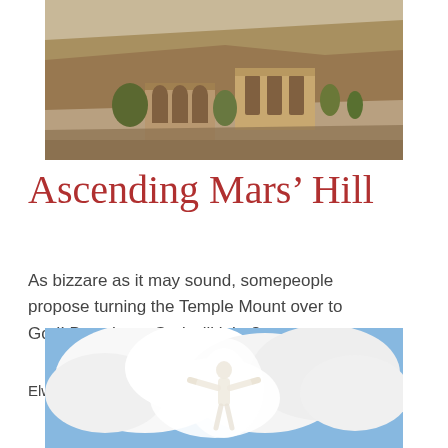[Figure (photo): Aerial/landscape photograph of ancient ruins and stone structures on a hillside, showing historic Greek or Middle Eastern architecture including arched buildings and rocky terrain, with the Acropolis visible in the background.]
Ascending Mars’ Hill
As bizzare as it may sound, somepeople propose turning the Temple Mount over to God! But whose God will it be?
Elwood McQuaid
[Figure (photo): Photograph of a glowing white figure with arms outstretched emerging from dramatic white clouds against a blue sky, resembling a divine or spiritual figure in the heavens.]